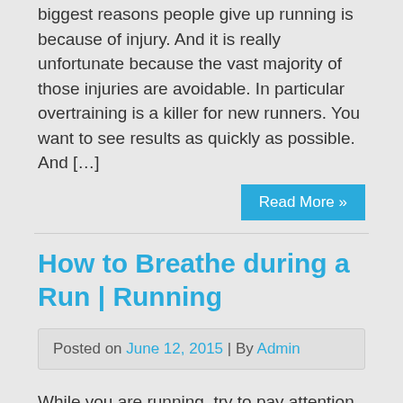biggest reasons people give up running is because of injury. And it is really unfortunate because the vast majority of those injuries are avoidable. In particular overtraining is a killer for new runners. You want to see results as quickly as possible. And […]
Read More »
How to Breathe during a Run | Running
Posted on June 12, 2015 | By Admin
While you are running, try to pay attention to how you are breathing. Try to keep it a controlled, relaxed breathing when you are first getting started. If you are running with a